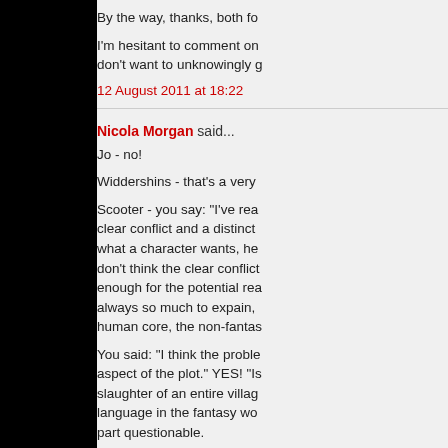By the way, thanks, both fo
I'm hesitant to comment on don't want to unknowingly g
12 August 2011 at 18:22
Nicola Morgan said...
Jo - no!
Widdershins - that's a very
Scooter - you say: "I've rea clear conflict and a distinct what a character wants, he don't think the clear conflict enough for the potential rea always so much to expain, human core, the non-fantas
You said: "I think the proble aspect of the plot." YES! "Is slaughter of an entire villag language in the fantasy wo part questionable.